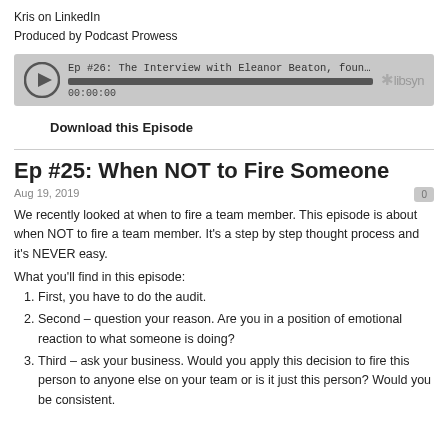Kris on LinkedIn
Produced by Podcast Prowess
[Figure (screenshot): Podcast audio player showing episode: Ep #26: The Interview with Eleanor Beaton, founder of Fi... with libsyn branding, progress bar, and timestamp 00:00:00]
Download this Episode
Ep #25: When NOT to Fire Someone
Aug 19, 2019
We recently looked at when to fire a team member. This episode is about when NOT to fire a team member. It's a step by step thought process and it's NEVER easy.
What you'll find in this episode:
First, you have to do the audit.
Second – question your reason. Are you in a position of emotional reaction to what someone is doing?
Third – ask your business. Would you apply this decision to fire this person to anyone else on your team or is it just this person? Would you be consistent.